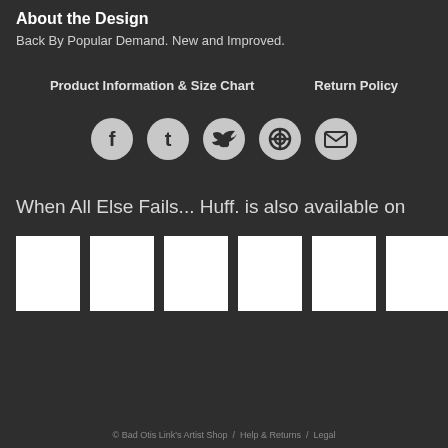About the Design
Back By Popular Demand. New and Improved.
Product Information & Size Chart     Return Policy
[Figure (infographic): Five circular social media share buttons: Facebook (f), Tumblr (t), Twitter bird, Pinterest (circle with P), Email (envelope)]
When All Else Fails... Huff. is also available on
[Figure (infographic): Six white square placeholder images representing shop thumbnails]
© Bad Otis Link's Artist Shop  /  Help & Returns  /  Legal